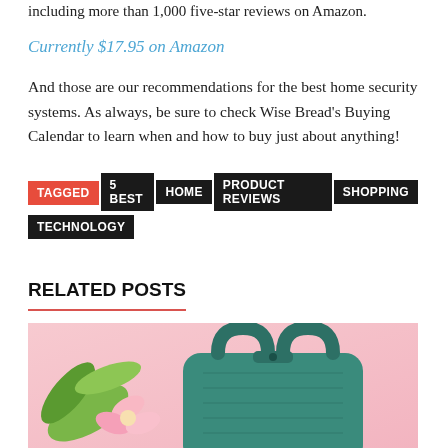including more than 1,000 five-star reviews on Amazon.
Currently $17.95 on Amazon
And those are our recommendations for the best home security systems. As always, be sure to check Wise Bread's Buying Calendar to learn when and how to buy just about anything!
TAGGED 5 BEST HOME PRODUCT REVIEWS SHOPPING TECHNOLOGY
RELATED POSTS
[Figure (photo): Photo of a teal/green handbag with handles against a pink background with pink flowers and green leaves]